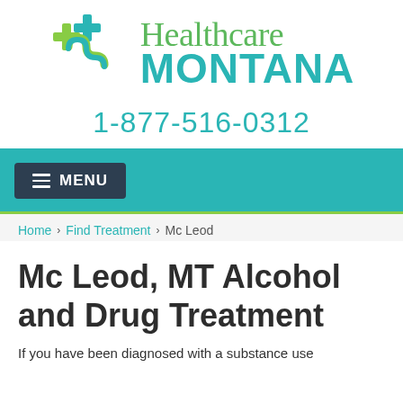[Figure (logo): Healthcare Montana logo with green cross icon and teal MONTANA text]
1-877-516-0312
MENU
Home › Find Treatment › Mc Leod
Mc Leod, MT Alcohol and Drug Treatment
If you have been diagnosed with a substance use